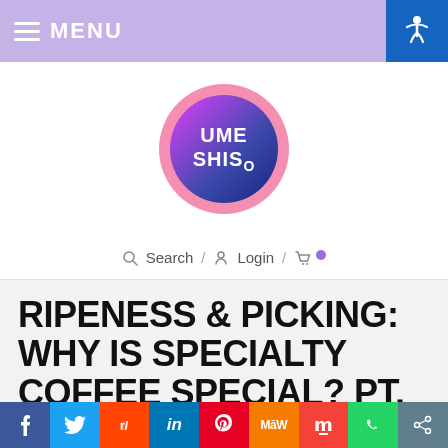MENU
[Figure (logo): UME SHISO circular logo with pink outer ring and purple-blue gradient inner circle with white text]
Search / Login /
RIPENESS & PICKING: WHY IS SPECIALTY COFFEE SPECIAL? PT. 3
Home / Ripeness & Picking: Why is Specialty Coffee Special?
[Figure (infographic): Social share bar with Facebook, Twitter, Reddit, LinkedIn, Pinterest, MeWe, Mix, WhatsApp, Share buttons]